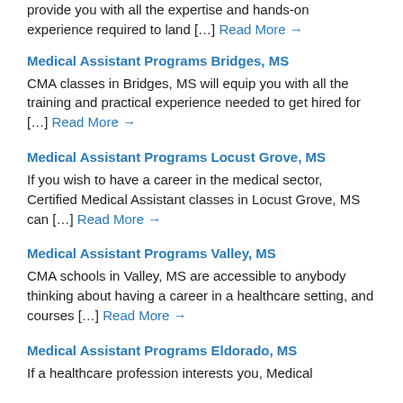provide you with all the expertise and hands-on experience required to land […] Read More →
Medical Assistant Programs Bridges, MS
CMA classes in Bridges, MS will equip you with all the training and practical experience needed to get hired for […] Read More →
Medical Assistant Programs Locust Grove, MS
If you wish to have a career in the medical sector, Certified Medical Assistant classes in Locust Grove, MS can […] Read More →
Medical Assistant Programs Valley, MS
CMA schools in Valley, MS are accessible to anybody thinking about having a career in a healthcare setting, and courses […] Read More →
Medical Assistant Programs Eldorado, MS
If a healthcare profession interests you, Medical Assistant programs in Eldorado, MS will […]